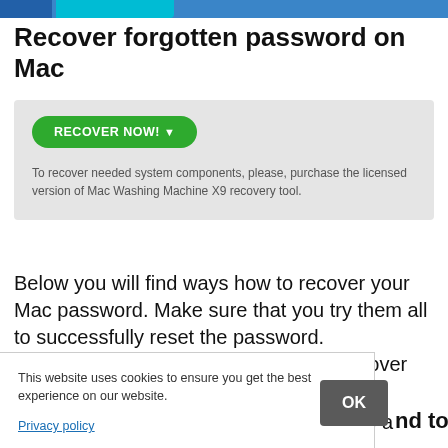Recover forgotten password on Mac
[Figure (screenshot): A gray box containing a green 'RECOVER NOW!' button and helper text about purchasing Mac Washing Machine X9 recovery tool.]
To recover needed system components, please, purchase the licensed version of Mac Washing Machine X9 recovery tool.
Below you will find ways how to recover your Mac password. Make sure that you try them all to successfully reset the password. Unfortunately, these methods do not recover the password for KeyChain[3] and similar applications. Likewise, you should create a new KeyChain
This website uses cookies to ensure you get the best experience on our website.
Privacy policy
OK
nd to